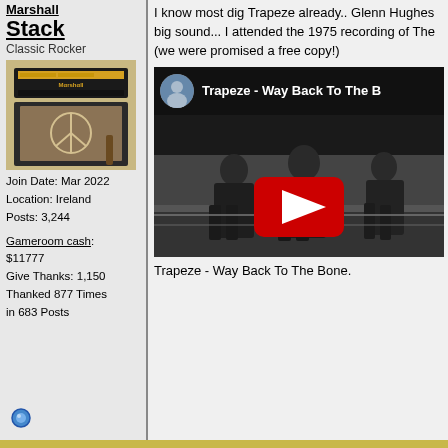Marshall
Stack
Classic Rocker
[Figure (photo): Marshall amplifier stack with peace symbol, avatar photo of user]
Join Date: Mar 2022
Location: Ireland
Posts: 3,244
Gameroom cash: $11777
Give Thanks: 1,150
Thanked 877 Times in 683 Posts
I know most dig Trapeze already.. Glenn Hughes big sound... I attended the 1975 recording of The (we were promised a free copy!)
[Figure (screenshot): YouTube video embed showing 'Trapeze - Way Back To The B' with band photo in black and white, red play button]
Trapeze - Way Back To The Bone.